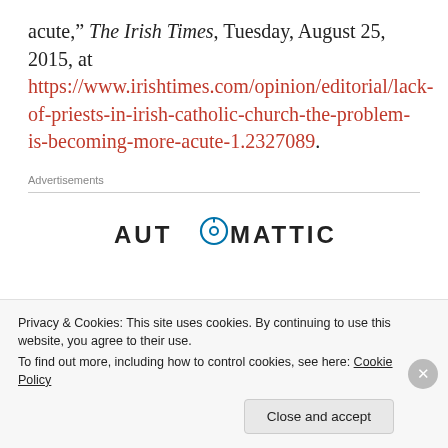acute,” The Irish Times, Tuesday, August 25, 2015, at https://www.irishtimes.com/opinion/editorial/lack-of-priests-in-irish-catholic-church-the-problem-is-becoming-more-acute-1.2327089.
Advertisements
[Figure (logo): Automattic logo with circular 'O' icon]
Privacy & Cookies: This site uses cookies. By continuing to use this website, you agree to their use.
To find out more, including how to control cookies, see here: Cookie Policy